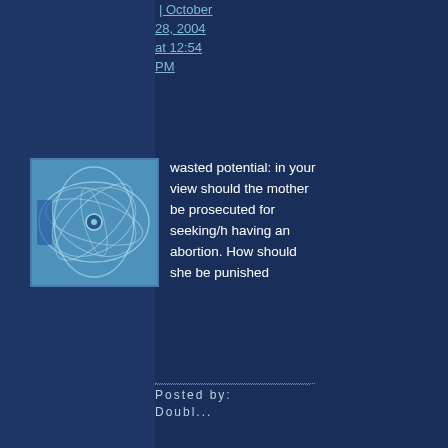October 28, 2004 at 12:54 PM
[Figure (illustration): Thumbnail avatar image with abstract blue swirling pattern on light blue background]
wasted potential: in your view should the mother be prosecuted for seeking/having an abortion. How should she be punished
Posted by: Doubl...